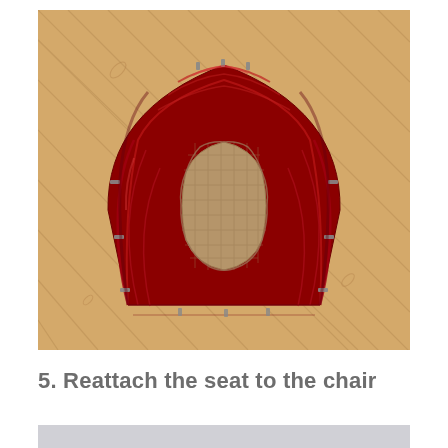[Figure (photo): Overhead view of a red velvet/satin upholstered chair seat cushion lying upside-down on a light wood floor, showing the fabric gathered and stapled around the edges with the raw burlap/fabric underside exposed in the center.]
5. Reattach the seat to the chair